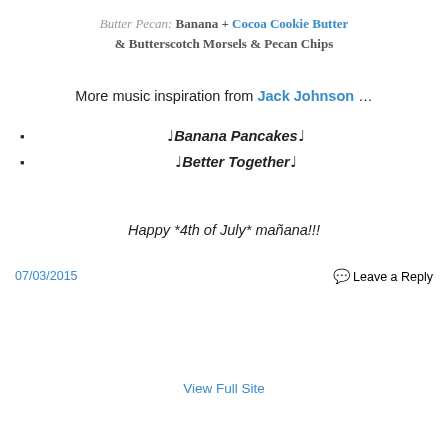Butter Pecan: Banana + Cocoa Cookie Butter & Butterscotch Morsels & Pecan Chips
More music inspiration from Jack Johnson …
♩Banana Pancakes♩
♩Better Together♩
Happy *4th of July* mañana!!!
07/03/2015
Leave a Reply
View Full Site